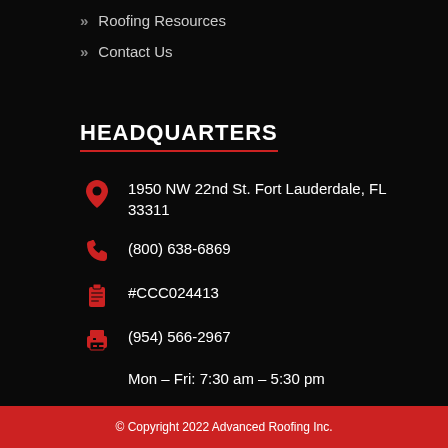» Roofing Resources
» Contact Us
HEADQUARTERS
1950 NW 22nd St. Fort Lauderdale, FL 33311
(800) 638-6869
#CCC024413
(954) 566-2967
Mon – Fri: 7:30 am – 5:30 pm
© Copyright 2022 Advanced Roofing Inc.